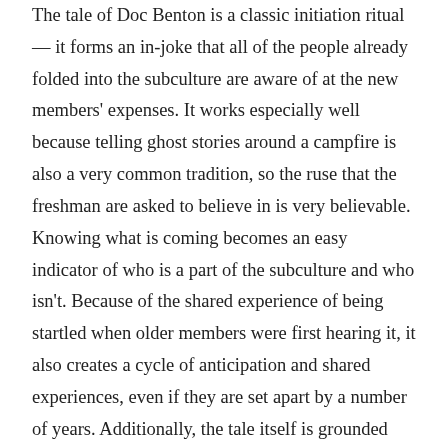The tale of Doc Benton is a classic initiation ritual — it forms an in-joke that all of the people already folded into the subculture are aware of at the new members' expenses. It works especially well because telling ghost stories around a campfire is also a very common tradition, so the ruse that the freshman are asked to believe in is very believable. Knowing what is coming becomes an easy indicator of who is a part of the subculture and who isn't. Because of the shared experience of being startled when older members were first hearing it, it also creates a cycle of anticipation and shared experiences, even if they are set apart by a number of years. Additionally, the tale itself is grounded heavily in the land and the area around Mount Moosilauke, as the D.O.C. is, so although it is primarily used to set up the punch line of the scream, it has cultural significance in and of itself too, tying in bits of actual local history and culture into random made-up details.